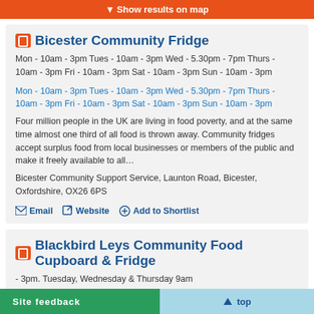Show results on map
Bicester Community Fridge
Mon - 10am - 3pm Tues - 10am - 3pm Wed - 5.30pm - 7pm Thurs - 10am - 3pm Fri - 10am - 3pm Sat - 10am - 3pm Sun - 10am - 3pm
Mon - 10am - 3pm Tues - 10am - 3pm Wed - 5.30pm - 7pm Thurs - 10am - 3pm Fri - 10am - 3pm Sat - 10am - 3pm Sun - 10am - 3pm
Four million people in the UK are living in food poverty, and at the same time almost one third of all food is thrown away. Community fridges accept surplus food from local businesses or members of the public and make it freely available to all…
Bicester Community Support Service, Launton Road, Bicester, Oxfordshire, OX26 6PS
Email
Website
Add to Shortlist
Blackbird Leys Community Food Cupboard & Fridge
- 3pm. Tuesday, Wednesday & Thursday 9am
Site feedback
top